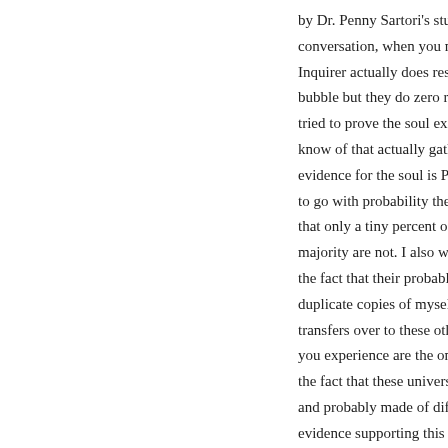by Dr. Penny Sartori's study. It c conversation, when you mention Inquirer actually does research, bubble but they do zero research tried to prove the soul exists?. T know of that actually gathered a evidence for the soul is Psychic to go with probability theory wh that only a tiny percent of nde a majority are not. I also want to k the fact that their probably are p duplicate copies of myself live i transfers over to these other uni you experience are the ones whe the fact that these universes hav and probably made of different s evidence supporting this comes